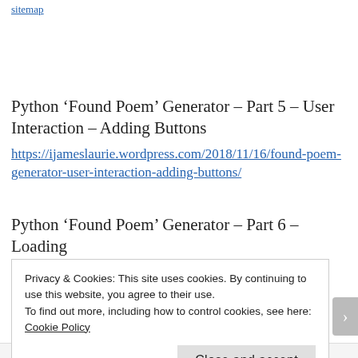sitemap
Python ‘Found Poem’ Generator – Part 5 – User Interaction – Adding Buttons
https://ijameslaurie.wordpress.com/2018/11/16/found-poem-generator-user-interaction-adding-buttons/
Python ‘Found Poem’ Generator – Part 6 – Loading Data From A File
Privacy & Cookies: This site uses cookies. By continuing to use this website, you agree to their use.
To find out more, including how to control cookies, see here:
Cookie Policy
Close and accept